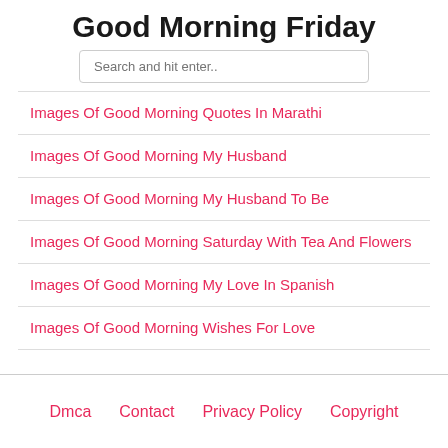Good Morning Friday
Search and hit enter..
Images Of Good Morning Quotes In Marathi
Images Of Good Morning My Husband
Images Of Good Morning My Husband To Be
Images Of Good Morning Saturday With Tea And Flowers
Images Of Good Morning My Love In Spanish
Images Of Good Morning Wishes For Love
Dmca   Contact   Privacy Policy   Copyright